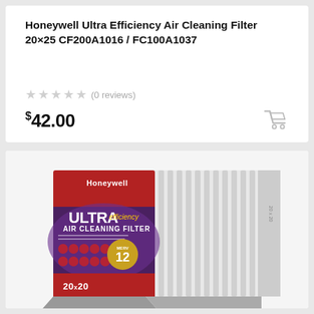Honeywell Ultra Efficiency Air Cleaning Filter 20×25 CF200A1016 / FC100A1037
★★★★★ (0 reviews)
$42.00
[Figure (photo): Product photo of Honeywell Ultra Efficiency Air Cleaning Filter box showing red and purple packaging with MERV 12 rating badge and 20x20 size label]